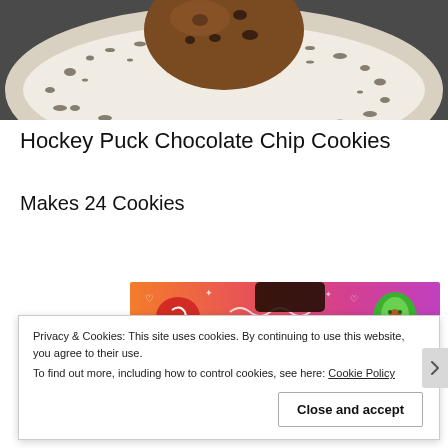[Figure (photo): Close-up photo of a chocolate chip cookie on a white speckled ceramic plate on a dark surface]
Hockey Puck Chocolate Chip Cookies
Makes 24 Cookies
[Figure (illustration): Colorful cartoon banner with orange-to-pink gradient featuring whimsical illustrated characters]
Privacy & Cookies: This site uses cookies. By continuing to use this website, you agree to their use.
To find out more, including how to control cookies, see here: Cookie Policy
Close and accept